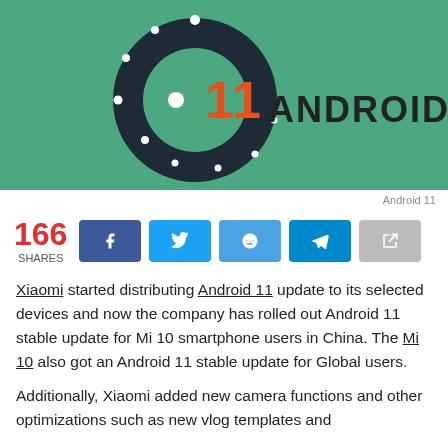[Figure (illustration): Android 11 logo on a green background: dark navy ring with white dots resembling Android logo, orange '11' numeral in the center right area, with text 'ANDROID 11' in dark color to the right]
Android 11
166 SHARES [social share buttons: Facebook, Twitter, Reddit, Telegram, Share]
Xiaomi started distributing Android 11 update to its selected devices and now the company has rolled out Android 11 stable update for Mi 10 smartphone users in China. The Mi 10 also got an Android 11 stable update for Global users.
Additionally, Xiaomi added new camera functions and other optimizations such as new vlog templates and